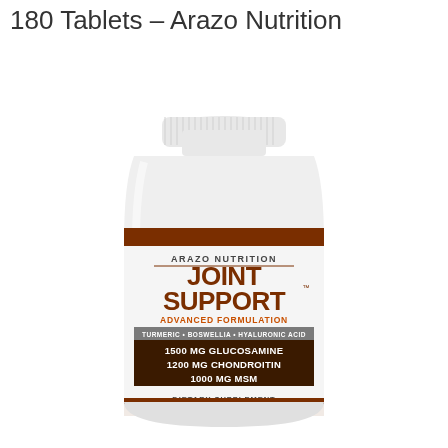180 Tablets – Arazo Nutrition
[Figure (photo): Arazo Nutrition Joint Support supplement bottle (white plastic) with brown label. Label reads: ARAZO NUTRITION, JOINT SUPPORT, ADVANCED FORMULATION, TURMERIC • BOSWELLIA • HYALURONIC ACID, 1500 MG GLUCOSAMINE, 1200 MG CHONDROITIN, 1000 MG MSM, DIETARY SUPPLEMENT, 180 TABLETS]